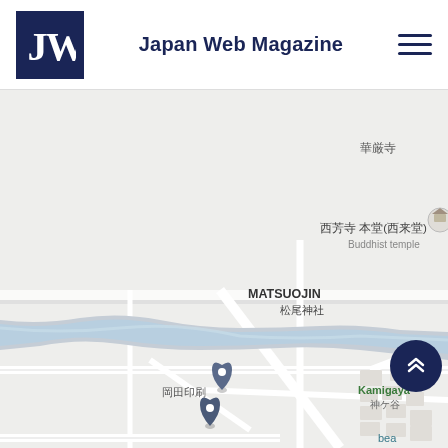[Figure (logo): Japan Web Magazine logo: dark navy square with JW letters in white serif font]
Japan Web Magazine
[Figure (map): Google Maps screenshot showing Kyoto area including landmarks: 華厳寺, 西芳寺 本堂(西来堂) Buddhist temple, MATSUOJIN / 松尾神社, 岡田印刷, Kamigaya / 神ケ谷, with a river (blue winding path) running through the lower-left area of the map, and two map pin markers visible near 岡田印刷.]